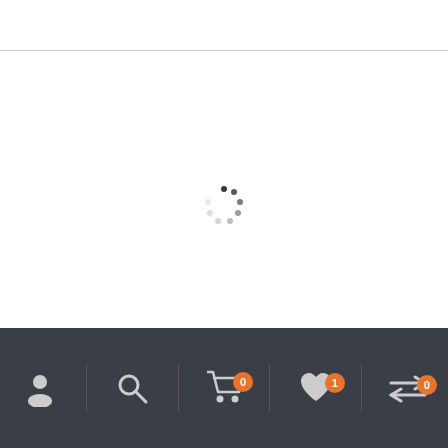[Figure (screenshot): Loading spinner (circular dots indicator) in center of product image area]
Nova CVT310 Convertidor de fibra optico
NOVA STAR
$129.00
[Figure (infographic): Bottom navigation bar with icons: user/account, search, cart (badge: 0), wishlist (badge: 1), compare (badge: 0)]